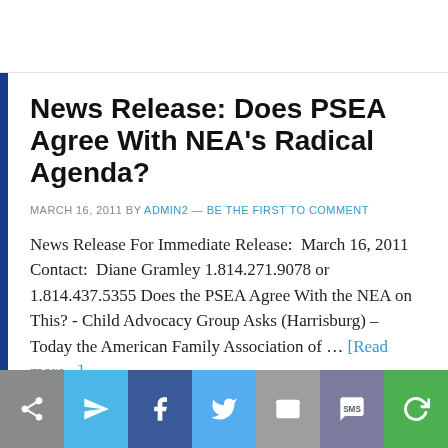News Release: Does PSEA Agree With NEA's Radical Agenda?
MARCH 16, 2011 BY ADMIN2 — BE THE FIRST TO COMMENT
News Release For Immediate Release:  March 16, 2011 Contact:  Diane Gramley 1.814.271.9078 or 1.814.437.5355 Does the PSEA Agree With the NEA on This? - Child Advocacy Group Asks (Harrisburg) – Today the American Family Association of … [Read more...]
[Figure (infographic): Social sharing buttons bar: share (gray), send/telegram (light blue), Facebook (dark blue), Twitter (light blue), email (gray), SMS (purple-gray), refresh/other (green)]